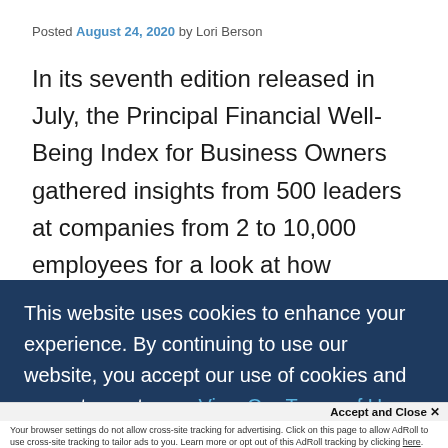Posted August 24, 2020 by Lori Berson
In its seventh edition released in July, the Principal Financial Well-Being Index for Business Owners gathered insights from 500 leaders at companies from 2 to 10,000 employees for a look at how COVID-19 has affected how they do business, how it's impacted their customers and employees, and what they plan to do moving forward during
This website uses cookies to enhance your experience. By continuing to use our website, you accept our use of cookies and agree to our terms. View Our Terms of Use
Accept and Close ✕
Your browser settings do not allow cross-site tracking for advertising. Click on this page to allow AdRoll to use cross-site tracking to tailor ads to you. Learn more or opt out of this AdRoll tracking by clicking here. This message only appears once.